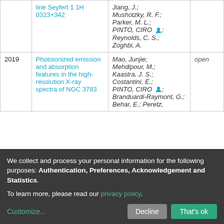| Year | Title | Authors | Access |
| --- | --- | --- | --- |
|  | line Seyfert 1 1H 0323+342 | Jiang, J.; Mushotzky, R. F.; Parker, M. L.; PINTO, CIRO [icon]; Reynolds, C. S.; Zoghbi, A. |  |
| 2019 | Photoionized emission and absorption features in the high-resolution X-ray spectra of NGC 3783 | Mao, Junjie; Mehdipour, M.; Kaastra, J. S.; Costantini, E.; PINTO, CIRO [icon]; Branduardi-Raymont, G.; Behar, E.; Peretz, | open |
We collect and process your personal information for the following purposes: Authentication, Preferences, Acknowledgement and Statistics. To learn more, please read our privacy policy.